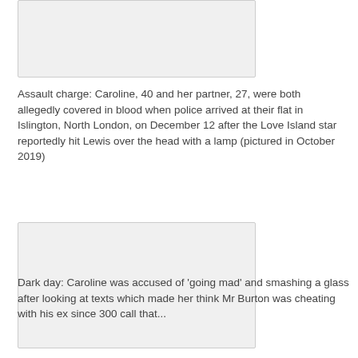[Figure (photo): Partial photo of Caroline Flack and partner, cropped at top of page]
Assault charge: Caroline, 40 and her partner, 27, were both allegedly covered in blood when police arrived at their flat in Islington, North London, on December 12 after the Love Island star reportedly hit Lewis over the head with a lamp (pictured in October 2019)
[Figure (photo): Photo of Caroline Flack, large rectangular image]
Dark day: Caroline was accused of 'going mad' and smashing a glass after looking at texts which made her think Mr Burton was cheating with his ex since 300 call that...